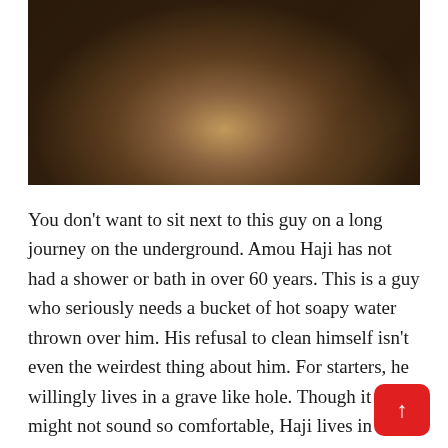[Figure (photo): A person sitting on the ground outdoors in worn, dirty clothing and bare feet, surrounded by rocky earth and debris. The image is dark and gritty in tone.]
You don't want to sit next to this guy on a long journey on the underground. Amou Haji has not had a shower or bath in over 60 years. This is a guy who seriously needs a bucket of hot soapy water thrown over him. His refusal to clean himself isn't even the weirdest thing about him. For starters, he willingly lives in a grave like hole. Though it might not sound so comfortable, Haji lives in a hole within an isolated part of iran's dejgah village. The is located in the southern part of Iran.